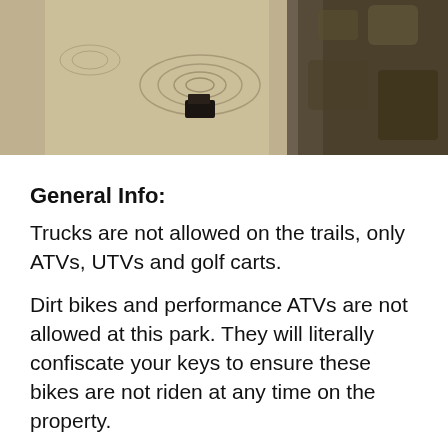[Figure (photo): Aerial or overhead photo showing muddy water with ripple patterns on the left side and dark rocky/vegetated terrain on the upper right, with a small vehicle silhouette visible in the mud]
General Info:
Trucks are not allowed on the trails, only ATVs, UTVs and golf carts.
Dirt bikes and performance ATVs are not allowed at this park. They will literally confiscate your keys to ensure these bikes are not riden at any time on the property.
A family friendly park with both primitive camping and full hook up RV sites. They have porta potties and a climate controlled bath house with showers.